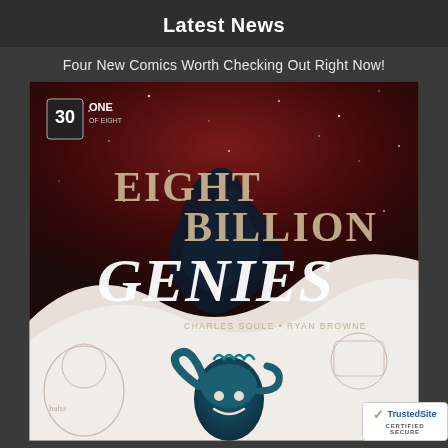Latest News
Four New Comics Worth Checking Out Right Now!
[Figure (photo): Comic book cover for 'Eight Billion Genies' #1 of 8, issue #30, by Charles Soule and Ryan Browne. Dark red and black starry background with large stylized title text. Bottom half shows pencil-sketch style characters including a genie character and human figures.]
[Figure (logo): TrustedSite Certified Secure badge with green checkmark and blue TrustedSite text]